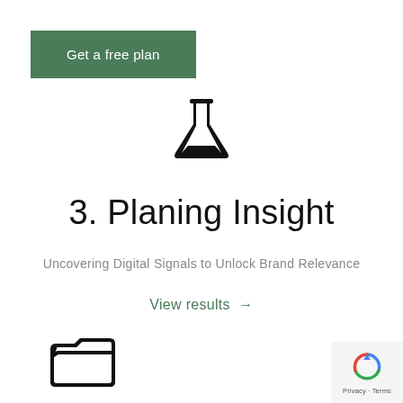Get a free plan
[Figure (illustration): Flask / beaker laboratory icon in black]
3. Planing Insight
Uncovering Digital Signals to Unlock Brand Relevance
View results →
[Figure (illustration): Open folder icon in black outline]
[Figure (illustration): reCAPTCHA Privacy - Terms badge]